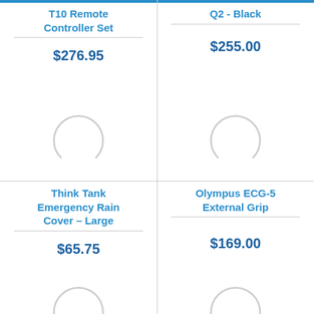T10 Remote Controller Set
$276.95
[Figure (other): Loading spinner graphic (partial circle arc)]
Q2 - Black
$255.00
[Figure (other): Loading spinner graphic (partial circle arc)]
[Figure (other): Loading spinner graphic (partial circle arc)]
Think Tank Emergency Rain Cover – Large
$65.75
[Figure (other): Loading spinner graphic (partial circle arc)]
Olympus ECG-5 External Grip
$169.00